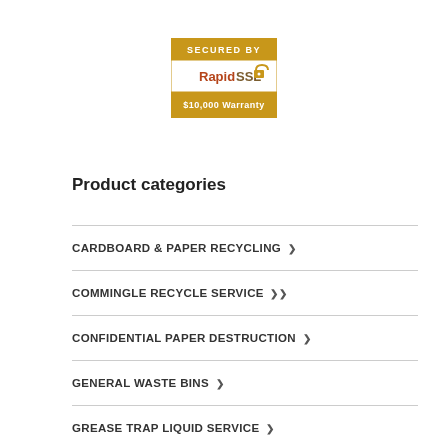[Figure (logo): RapidSSL Secured By badge with $10,000 Warranty text on gold/brown background]
Product categories
CARDBOARD & PAPER RECYCLING ❯
COMMINGLE RECYCLE SERVICE ❯❯
CONFIDENTIAL PAPER DESTRUCTION ❯
GENERAL WASTE BINS ❯
GREASE TRAP LIQUID SERVICE ❯
MEDICAL WASTE SERVICE ‡